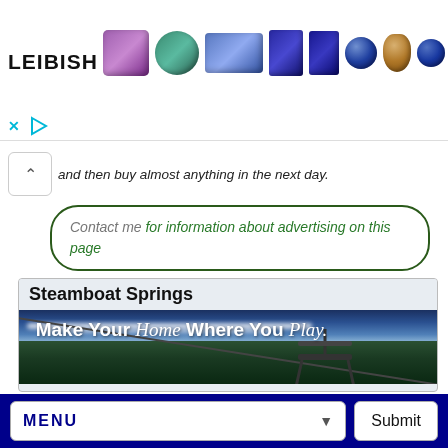[Figure (photo): Leibish jewelry advertisement banner showing gemstones and earrings with LEIBISH logo and ad controls (X close and play button)]
and then buy almost anything in the next day.
Contact me for information about advertising on this page
[Figure (photo): Steamboat Springs real estate advertisement with ski lift chair against blue sky and snow-covered pine trees, with text 'Make Your Home Where You Play.']
MENU  Submit